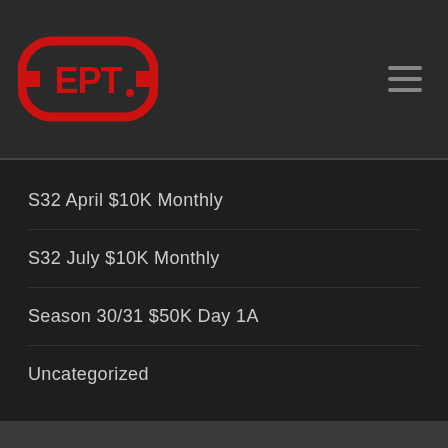EPT logo and navigation menu
S32 April $10K Monthly
S32 July $10K Monthly
Season 30/31 $50K Day 1A
Uncategorized
[Figure (logo): Social media icons: Facebook, Twitter, YouTube]